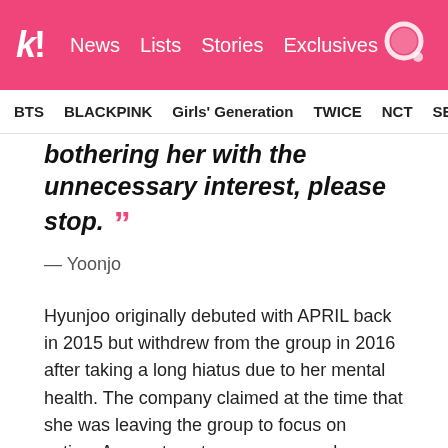k! News  Lists  Stories  Exclusives
BTS  BLACKPINK  Girls' Generation  TWICE  NCT  SEVE
bothering her with the unnecessary interest, please stop. ”
— Yoonjo
Hyunjoo originally debuted with APRIL back in 2015 but withdrew from the group in 2016 after taking a long hiatus due to her mental health. The company claimed at the time that she was leaving the group to focus on acting. A recent controversy arose when a netizen alleging to be her younger brother revealed that she was severely bullied by the other members. DSP